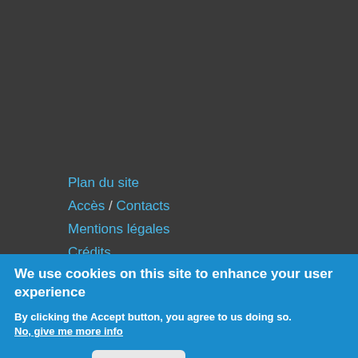Plan du site
Accès / Contacts
Mentions légales
Crédits
We use cookies on this site to enhance your user experience
By clicking the Accept button, you agree to us doing so.
No, give me more info
OK, I agree   No, thanks